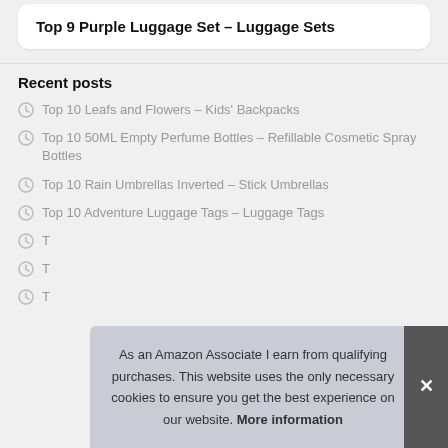Top 9 Purple Luggage Set – Luggage Sets
Recent posts
Top 10 Leafs and Flowers – Kids' Backpacks
Top 10 50ML Empty Perfume Bottles – Refillable Cosmetic Spray Bottles
Top 10 Rain Umbrellas Inverted – Stick Umbrellas
Top 10 Adventure Luggage Tags – Luggage Tags
T
T
T
As an Amazon Associate I earn from qualifying purchases. This website uses the only necessary cookies to ensure you get the best experience on our website. More information